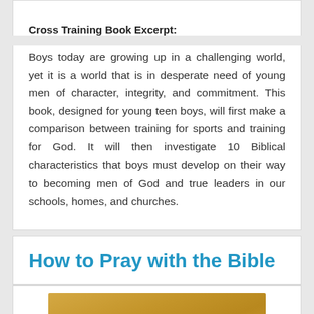Cross Training Book Excerpt:
Boys today are growing up in a challenging world, yet it is a world that is in desperate need of young men of character, integrity, and commitment. This book, designed for young teen boys, will first make a comparison between training for sports and training for God. It will then investigate 10 Biblical characteristics that boys must develop on their way to becoming men of God and true leaders in our schools, homes, and churches.
How to Pray with the Bible
[Figure (photo): Partial photo visible at the bottom of the page, showing a warm golden/amber toned image, likely related to prayer or Bible reading.]